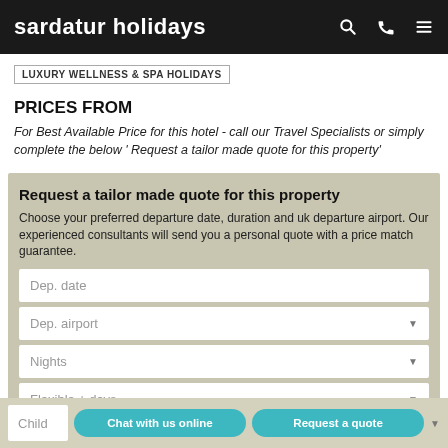sardatur holidays
LUXURY WELLNESS & SPA HOLIDAYS
PRICES FROM
For Best Available Price for this hotel - call our Travel Specialists or simply complete the below ' Request a tailor made quote for this property'
Request a tailor made quote for this property
Choose your preferred departure date, duration and uk departure airport. Our experienced consultants will send you a personal quote with a price match guarantee.
Dep. date
Dep. airport
Nights
Flexible ± days
Adults
Child
Chat with us online
Request a quote